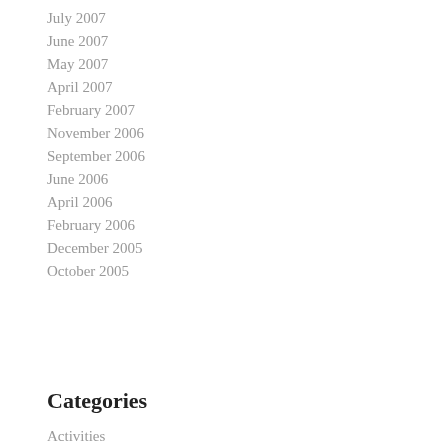July 2007
June 2007
May 2007
April 2007
February 2007
November 2006
September 2006
June 2006
April 2006
February 2006
December 2005
October 2005
Categories
Activities